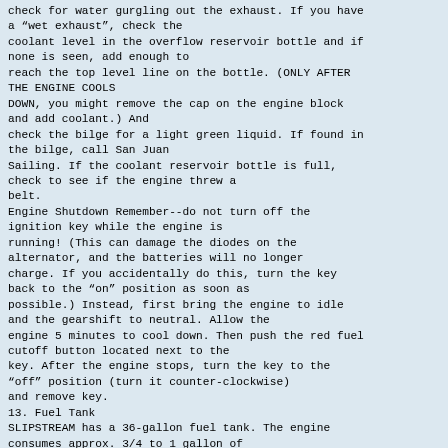check for water gurgling out the exhaust. If you have a "wet exhaust", check the coolant level in the overflow reservoir bottle and if none is seen, add enough to reach the top level line on the bottle. (ONLY AFTER THE ENGINE COOLS DOWN, you might remove the cap on the engine block and add coolant.) And check the bilge for a light green liquid. If found in the bilge, call San Juan Sailing. If the coolant reservoir bottle is full, check to see if the engine threw a belt.
Engine Shutdown Remember--do not turn off the ignition key while the engine is running! (This can damage the diodes on the alternator, and the batteries will no longer charge. If you accidentally do this, turn the key back to the "on" position as soon as possible.) Instead, first bring the engine to idle and the gearshift to neutral. Allow the engine 5 minutes to cool down. Then push the red fuel cutoff button located next to the key. After the engine stops, turn the key to the "off" position (turn it counter-clockwise) and remove key.
13. Fuel Tank
SLIPSTREAM has a 36-gallon fuel tank. The engine consumes approx. 3/4 to 1 gallon of diesel per hour. The tank is located in the aft cabin under the mattress. Check the fuel level by using the tank monitor at the nav station or visually inspect the tank under the aft